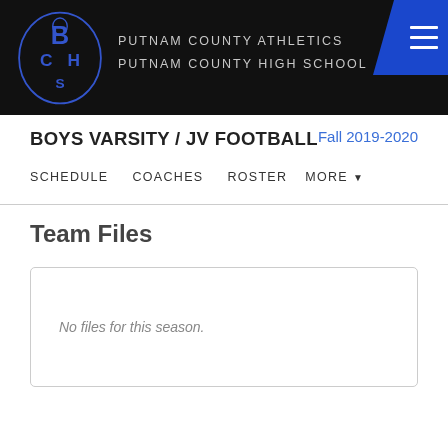PUTNAM COUNTY ATHLETICS PUTNAM COUNTY HIGH SCHOOL
BOYS VARSITY / JV FOOTBALL  Fall 2019-2020
SCHEDULE   COACHES   ROSTER   MORE
Team Files
No files for this season.